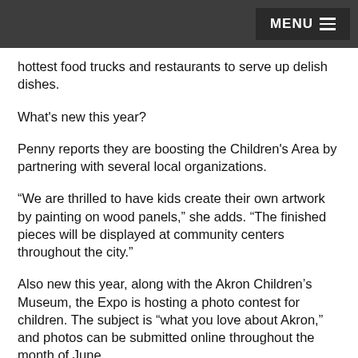MENU
hottest food trucks and restaurants to serve up delish dishes.
What's new this year?
Penny reports they are boosting the Children's Area by partnering with several local organizations.
“We are thrilled to have kids create their own artwork by painting on wood panels,” she adds. “The finished pieces will be displayed at community centers throughout the city.”
Also new this year, along with the Akron Children’s Museum, the Expo is hosting a photo contest for children. The subject is “what you love about Akron,” and photos can be submitted online throughout the month of June.
Live musical groups and festival food and drinks complete the enticing ensemble.